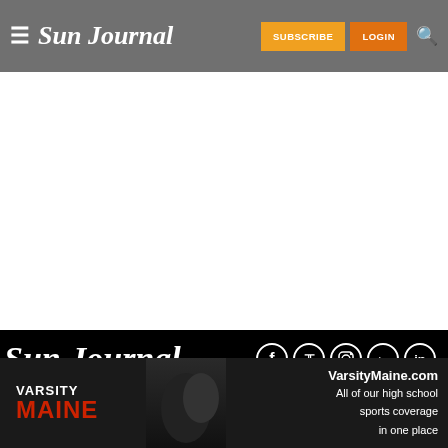≡ Sun Journal | SUBSCRIBE | LOGIN | 🔍
[Figure (screenshot): White blank content area between header and footer]
Sun Journal
[Figure (infographic): Social media icons: Facebook, Twitter, Instagram, YouTube, LinkedIn — white circles on black background]
CONTACT US
ADVERTISE
[Figure (infographic): Varsity Maine advertisement banner: 'VARSITY MAINE — VarsityMaine.com — All of our high school sports coverage in one place' with football photo]